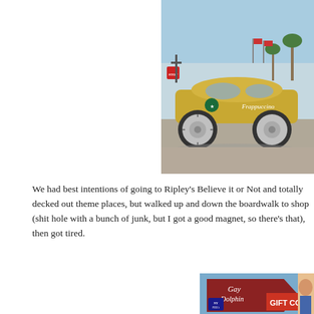[Figure (photo): A gold-colored sedan car lifted high on large chrome wheels, with Starbucks Frappuccino branding on the side, parked in a parking lot near a beach boardwalk with palm trees and flags in the background.]
We had best intentions of going to Ripley's Believe it or Not and totally decked out theme places, but walked up and down the boardwalk to shop (shit hole with a bunch of junk, but I got a good magnet, so there's that), then got tired.
[Figure (photo): Partial view of a sign reading 'Gay Dolphin GIFT CO...' with a brown/red retro-style sign and blue sky visible, and part of a face/billboard visible on the right.]